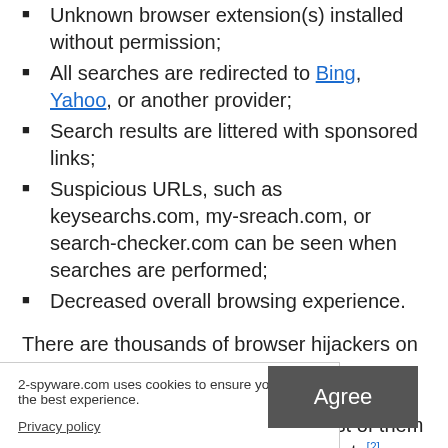Unknown browser extension(s) installed without permission;
All searches are redirected to Bing, Yahoo, or another provider;
Search results are littered with sponsored links;
Suspicious URLs, such as keysearchs.com, my-sreach.com, or search-checker.com can be seen when searches are performed;
Decreased overall browsing experience.
There are thousands of browser hijackers on the market (for example, UltimateStreamSearch, DailyLocalGuide, Dosearch Lite, and others), and most of them have a lot in common. Security experts[2] generally do not consider such h as SpyHunter entially t all. That being
2-spyware.com uses cookies to ensure you get the best experience.
Privacy policy
Agree